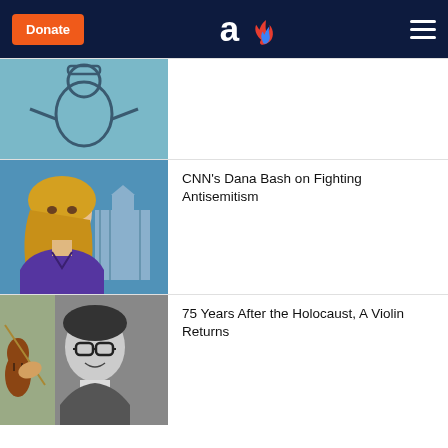Donate | aish logo | menu
[Figure (illustration): Partially visible illustration of a cartoon figure, top of article list item]
[Figure (photo): CNN's Dana Bash, blonde woman in purple top, Capitol building in background]
CNN's Dana Bash on Fighting Antisemitism
[Figure (photo): Black and white portrait of a man with glasses holding a violin, colored violin player in foreground]
75 Years After the Holocaust, A Violin Returns